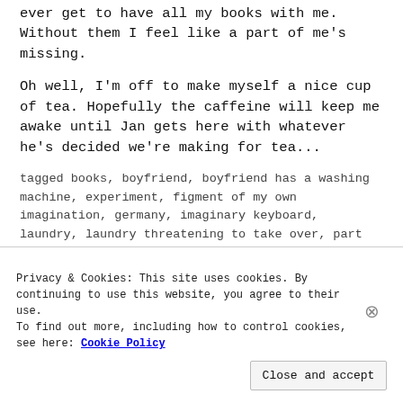ever get to have all my books with me. Without them I feel like a part of me's missing.
Oh well, I'm off to make myself a nice cup of tea. Hopefully the caffeine will keep me awake until Jan gets here with whatever he's decided we're making for tea...
tagged books, boyfriend, boyfriend has a washing machine, experiment, figment of my own imagination, germany, imaginary keyboard, laundry, laundry threatening to take over, part of me's missing, so little space, stuff, tea, tired, world hasn't ended      6 comments
Privacy & Cookies: This site uses cookies. By continuing to use this website, you agree to their use.
To find out more, including how to control cookies, see here: Cookie Policy
Close and accept